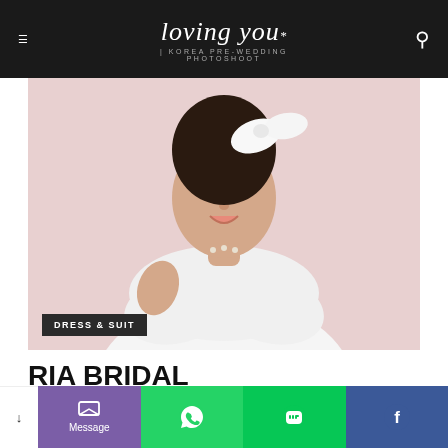Loving You | Korea Pre-Wedding Photoshoot
[Figure (photo): A bride in a white ruffled dress with a white bow hair accessory and pearl necklace, posed against a pink background. A 'DRESS & SUIT' badge appears in the lower left.]
RIA BRIDAL
LOVINGYOU | KOREA PRE WEDDING PHOTOSHOOT — 2018-04-14  0
[Figure (photo): Partial view of a couple in wedding attire, dark/blurred background visible at bottom of page.]
Message | WhatsApp | LINE | Facebook